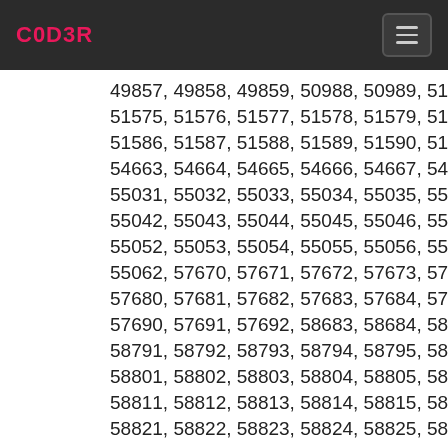C0D3R
49857, 49858, 49859, 50988, 50989, 51569, 5157... 51575, 51576, 51577, 51578, 51579, 51580, 51581, 5... 51586, 51587, 51588, 51589, 51590, 51591, 51592, 5... 54663, 54664, 54665, 54666, 54667, 54668, 546... 55031, 55032, 55033, 55034, 55035, 55036, 550... 55042, 55043, 55044, 55045, 55046, 55047, 55... 55052, 55053, 55054, 55055, 55056, 55057, 550... 55062, 57670, 57671, 57672, 57673, 57675, 5767... 57680, 57681, 57682, 57683, 57684, 57685, 5768... 57690, 57691, 57692, 58683, 58684, 58685, 586... 58791, 58792, 58793, 58794, 58795, 58796, 5879... 58801, 58802, 58803, 58804, 58805, 58806, 58... 58811, 58812, 58813, 58814, 58815, 58816, 58817, 58821, 58822, 58823, 58824, 58825, 58826, 588... 58831, 58832, 58833, 58834, 58835, 58836, 5888... 58841, 58842, 58843, 58844, 58845, 58846, 588...